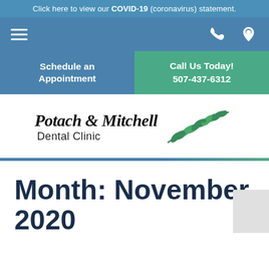Click here to view our COVID-19 (coronavirus) statement.
[Figure (screenshot): Navigation bar with hamburger menu on left and phone/location icons on right]
Schedule an Appointment
Call Us Today! 507-437-6312
[Figure (logo): Potach & Mitchell Dental Clinic logo with olive branch graphic]
Month: November 2020